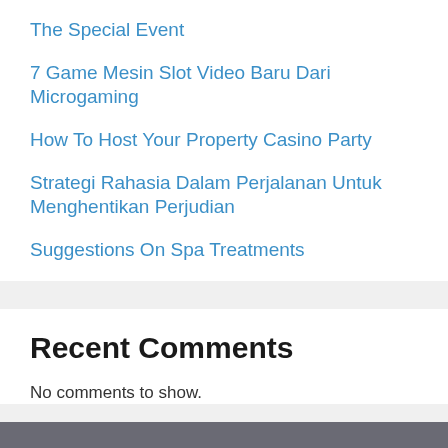The Special Event
7 Game Mesin Slot Video Baru Dari Microgaming
How To Host Your Property Casino Party
Strategi Rahasia Dalam Perjalanan Untuk Menghentikan Perjudian
Suggestions On Spa Treatments
Recent Comments
No comments to show.